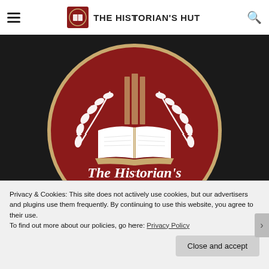THE HISTORIAN'S HUT
[Figure (logo): The Historian's Hut circular logo: dark red circle with gold border, open book with laurel branches, text 'The Historian's Hut' in white serif font]
Privacy & Cookies: This site does not actively use cookies, but our advertisers and plugins use them frequently. By continuing to use this website, you agree to their use.
To find out more about our policies, go here: Privacy Policy
Close and accept